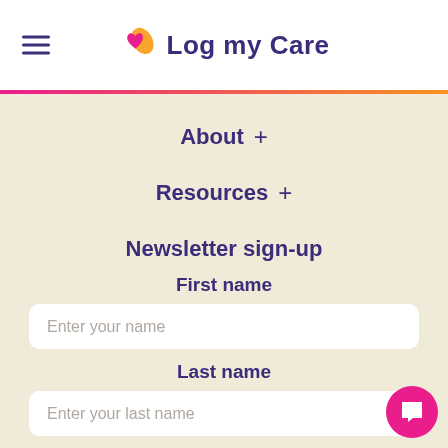Log my Care
About +
Resources +
Newsletter sign-up
First name
Enter your name
Last name
Enter your last name